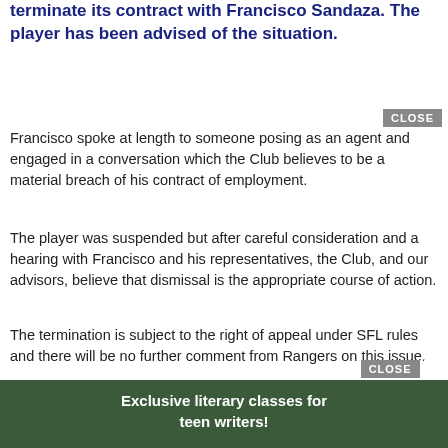terminate its contract with Francisco Sandaza. The player has been advised of the situation.
Francisco spoke at length to someone posing as an agent and engaged in a conversation which the Club believes to be a material breach of his contract of employment.
The player was suspended but after careful consideration and a hearing with Francisco and his representatives, the Club, and our advisors, believe that dismissal is the appropriate course of action.
The termination is subject to the right of appeal under SFL rules and there will be no further comment from Rangers on this issue.
The Daily Record reports that Sandaza is set to fight the decision.
[Figure (other): Advertisement banner: Exclusive literary classes for teen writers!]